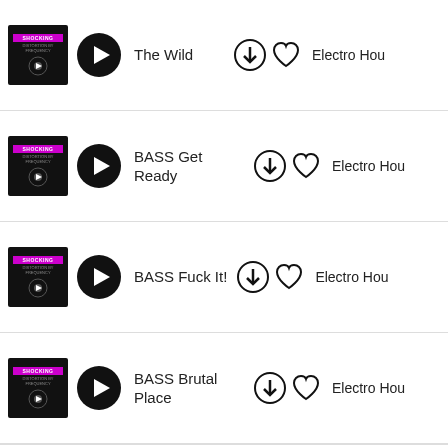The Wild — Electro Hou
BASS Get Ready — Electro Hou
BASS Fuck It! — Electro Hou
BASS Brutal Place — Electro Hou
BASS (partial, cut off)